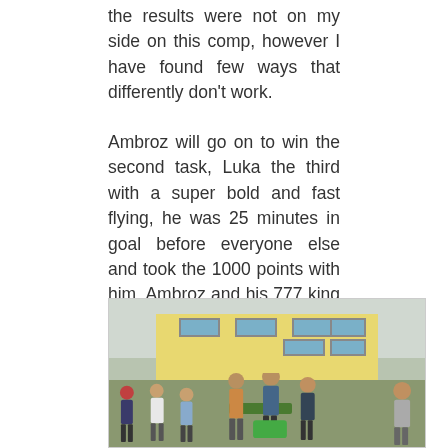the results were not on my side on this comp, however I have found few ways that differently don't work.
Ambroz will go on to win the second task, Luka the third with a super bold and fast flying, he was 25 minutes in goal before everyone else and took the 1000 points with him. Ambroz and his 777 king always being on the 1 to 4th position broth the win to Slovenia.
[Figure (photo): Group of people gathered outdoors in front of a yellow building, some standing on an elevated platform, appearing to be at an award ceremony or competition event.]